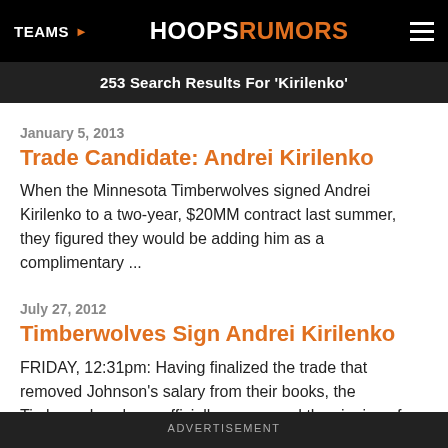TEAMS | HOOPSRUMORS
253 Search Results For 'Kirilenko'
January 5, 2013
Trade Candidate: Andrei Kirilenko
When the Minnesota Timberwolves signed Andrei Kirilenko to a two-year, $20MM contract last summer, they figured they would be adding him as a complimentary ...
July 27, 2012
Timberwolves Sign Andrei Kirilenko
FRIDAY, 12:31pm: Having finalized the trade that removed Johnson's salary from their books, the Timberwolves have officially announced the signing of Kirilenko (Twitter link).
ADVERTISEMENT